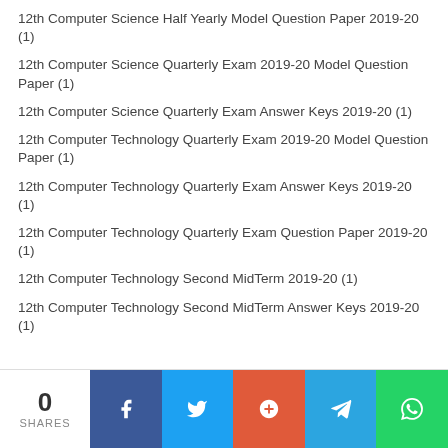12th Computer Science Half Yearly Model Question Paper 2019-20 (1)
12th Computer Science Quarterly Exam 2019-20 Model Question Paper (1)
12th Computer Science Quarterly Exam Answer Keys 2019-20 (1)
12th Computer Technology Quarterly Exam 2019-20 Model Question Paper (1)
12th Computer Technology Quarterly Exam Answer Keys 2019-20 (1)
12th Computer Technology Quarterly Exam Question Paper 2019-20 (1)
12th Computer Technology Second MidTerm 2019-20 (1)
12th Computer Technology Second MidTerm Answer Keys 2019-20 (1)